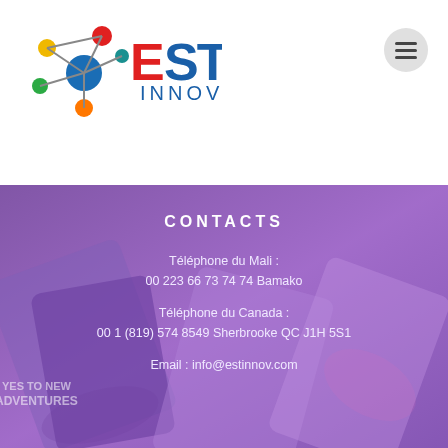[Figure (logo): EST Innov logo with colorful connected nodes and EST text in red and blue, INNOV in blue below]
[Figure (other): Hamburger menu button (three horizontal lines) in a gray circle]
CONTACTS
Téléphone  du Mali :
00 223 66 73 74 74 Bamako
Téléphone  du Canada :
00 1 (819) 574 8549 Sherbrooke QC J1H 5S1
Email : info@estinnov.com